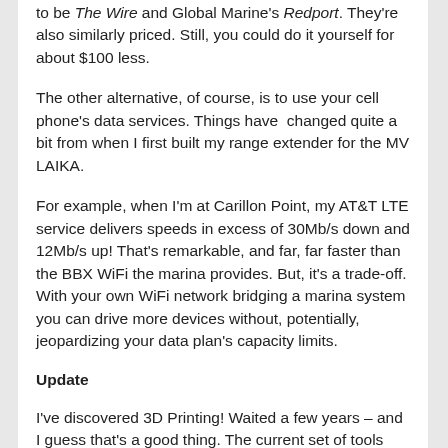to be The Wire and Global Marine's Redport. They're also similarly priced. Still, you could do it yourself for about $100 less.
The other alternative, of course, is to use your cell phone's data services. Things have  changed quite a bit from when I first built my range extender for the MV LAIKA.
For example, when I'm at Carillon Point, my AT&T LTE service delivers speeds in excess of 30Mb/s down and 12Mb/s up! That's remarkable, and far, far faster than the BBX WiFi the marina provides. But, it's a trade-off. With your own WiFi network bridging a marina system you can drive more devices without, potentially, jeopardizing your data plan's capacity limits.
Update
I've discovered 3D Printing! Waited a few years – and I guess that's a good thing. The current set of tools that are available are quite remarkable, and more refined than